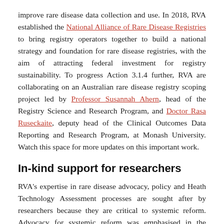improve rare disease data collection and use. In 2018, RVA established the National Alliance of Rare Disease Registries to bring registry operators together to build a national strategy and foundation for rare disease registries, with the aim of attracting federal investment for registry sustainability. To progress Action 3.1.4 further, RVA are collaborating on an Australian rare disease registry scoping project led by Professor Susannah Ahern, head of the Registry Science and Research Program, and Doctor Rasa Ruseckaite, deputy head of the Clinical Outcomes Data Reporting and Research Program, at Monash University. Watch this space for more updates on this important work.
In-kind support for researchers
RVA's expertise in rare disease advocacy, policy and Heath Technology Assessment processes are sought after by researchers because they are critical to systemic reform. Advocacy for systemic reform was emphasised in the stakeholder consultations that informed the development of the Action Plan. To this end, RVA has been providing letters of support and other in-kind support to rare disease researchers seeking funding for research broadly applicable to, or at least a